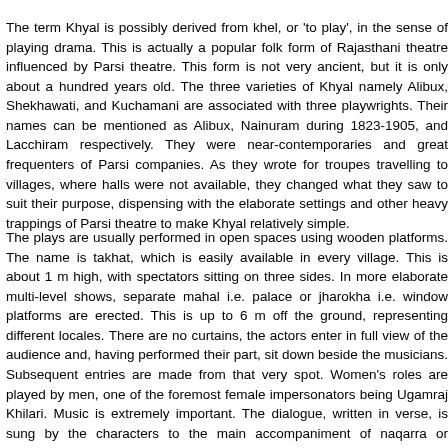The term Khyal is possibly derived from khel, or 'to play', in the sense of playing drama. This is actually a popular folk form of Rajasthani theatre influenced by Parsi theatre. This form is not very ancient, but it is only about a hundred years old. The three varieties of Khyal namely Alibux, Shekhawati, and Kuchamani are associated with three playwrights. Their names can be mentioned as Alibux, Nainuram during 1823-1905, and Lacchiram respectively. They were near-contemporaries and great frequenters of Parsi companies. As they wrote for troupes travelling to villages, where halls were not available, they changed what they saw to suit their purpose, dispensing with the elaborate settings and other heavy trappings of Parsi theatre to make Khyal relatively simple.
The plays are usually performed in open spaces using wooden platforms. The name is takhat, which is easily available in every village. This is about 1 m high, with spectators sitting on three sides. In more elaborate multi-level shows, separate mahal i.e. palace or jharokha i.e. window platforms are erected. This is up to 6 m off the ground, representing different locales. There are no curtains, the actors enter in full view of the audience and, having performed their part, sit down beside the musicians. Subsequent entries are made from that very spot. Women's roles are played by men, one of the foremost female impersonators being Ugamraj Khilari. Music is extremely important. The dialogue, written in verse, is sung by the characters to the main accompaniment of naqarra or kettledrum and harmonium. The style of